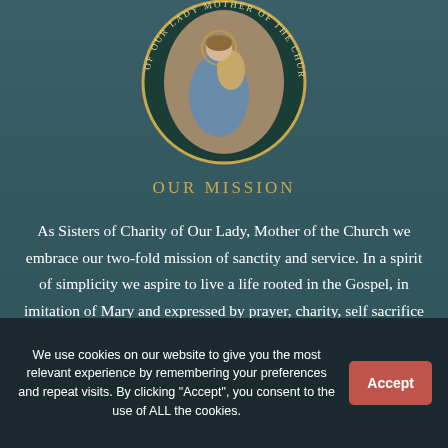[Figure (logo): Circular seal/logo of Sisters of Charity of Our Lady, Mother of the Church — circular green and gold border with text, central image of Mary with child]
OUR MISSION
As Sisters of Charity of Our Lady, Mother of the Church we embrace our two-fold mission of sanctity and service. In a spirit of simplicity we aspire to live a life rooted in the Gospel, in imitation of Mary and expressed by prayer, charity, self sacrifice and loving obedience. We devote ourselves to the works of charity, and
We use cookies on our website to give you the most relevant experience by remembering your preferences and repeat visits. By clicking "Accept", you consent to the use of ALL the cookies.